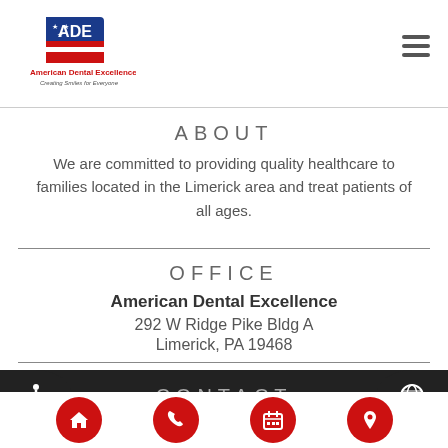American Dental Excellence - Creating Smiles for Everyone
ABOUT
We are committed to providing quality healthcare to families located in the Limerick area and treat patients of all ages.
OFFICE
American Dental Excellence
292 W Ridge Pike Bldg A
Limerick, PA 19468
CONTACT